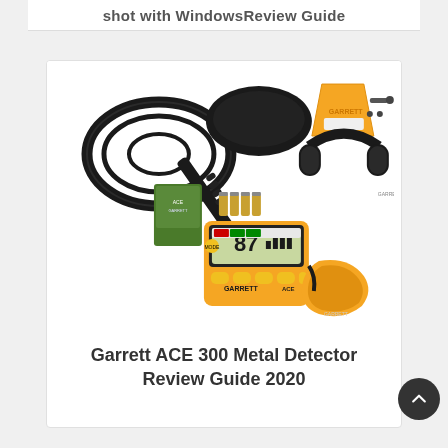shot with WindowsReview Guide
[Figure (photo): Garrett ACE 300 Metal Detector product photo showing the complete kit: metal detector with search coil, control box with digital display showing '87', headphones, carrying bag, batteries, manual, and arm cuff, all in yellow and black colors.]
Garrett ACE 300 Metal Detector Review Guide 2020